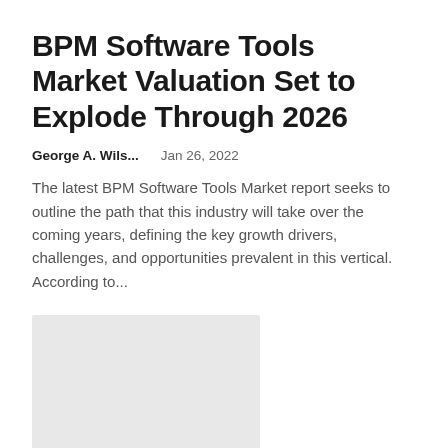BPM Software Tools Market Valuation Set to Explode Through 2026
George A. Wils...    Jan 26, 2022
The latest BPM Software Tools Market report seeks to outline the path that this industry will take over the coming years, defining the key growth drivers, challenges, and opportunities prevalent in this vertical. According to...
[Figure (other): Gray placeholder image block]